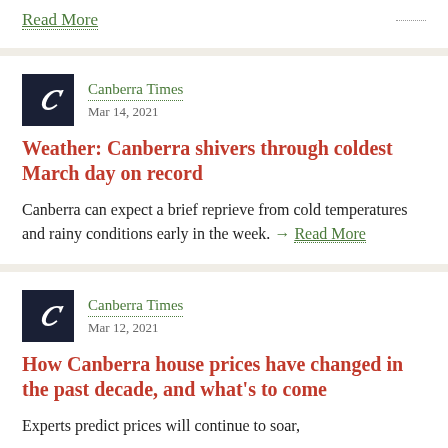Read More
Canberra Times
Mar 14, 2021
Weather: Canberra shivers through coldest March day on record
Canberra can expect a brief reprieve from cold temperatures and rainy conditions early in the week. → Read More
Canberra Times
Mar 12, 2021
How Canberra house prices have changed in the past decade, and what's to come
Experts predict prices will continue to soar,